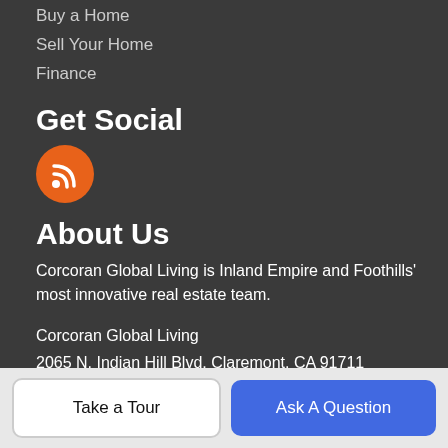Buy a Home
Sell Your Home
Finance
Get Social
[Figure (illustration): Orange circle RSS feed icon]
About Us
Corcoran Global Living is Inland Empire and Foothills' most innovative real estate team.
Corcoran Global Living
2065 N. Indian Hill Blvd, Claremont, CA 91711
909-206-0001
Cal-Bre # 02009881
Jessie Rodriguez, CA DRE# 01418054
Take a Tour
Ask A Question